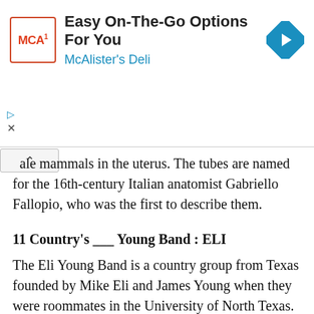[Figure (other): Advertisement banner for McAlister's Deli with logo, title 'Easy On-The-Go Options For You', blue subtitle 'McAlister's Deli', and a blue diamond navigation icon on the right.]
hale mammals in the uterus. The tubes are named for the 16th-century Italian anatomist Gabriello Fallopio, who was the first to describe them.
11 Country's ___ Young Band : ELI
The Eli Young Band is a country group from Texas founded by Mike Eli and James Young when they were roommates in the University of North Texas.
12 Only four-ninths of it is usually shown: Abbr. : SSN
So often, we are asked for "the last four digits" of